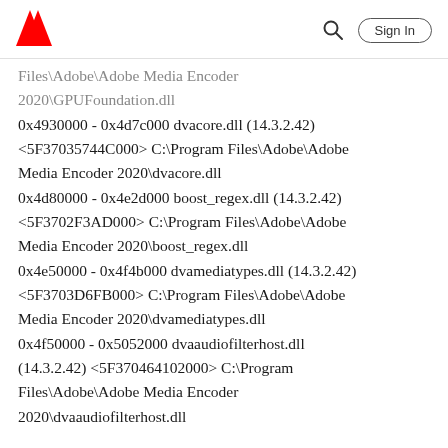Adobe (logo) | Search | Sign In
Files\Adobe\Adobe Media Encoder 2020\GPUFoundation.dll
0x4930000 - 0x4d7c000 dvacore.dll (14.3.2.42) <5F37035744C000> C:\Program Files\Adobe\Adobe Media Encoder 2020\dvacore.dll
0x4d80000 - 0x4e2d000 boost_regex.dll (14.3.2.42) <5F3702F3AD000> C:\Program Files\Adobe\Adobe Media Encoder 2020\boost_regex.dll
0x4e50000 - 0x4f4b000 dvamediatypes.dll (14.3.2.42) <5F3703D6FB000> C:\Program Files\Adobe\Adobe Media Encoder 2020\dvamediatypes.dll
0x4f50000 - 0x5052000 dvaaudiofilterhost.dll (14.3.2.42) <5F370464102000> C:\Program Files\Adobe\Adobe Media Encoder 2020\dvaaudiofilterhost.dll